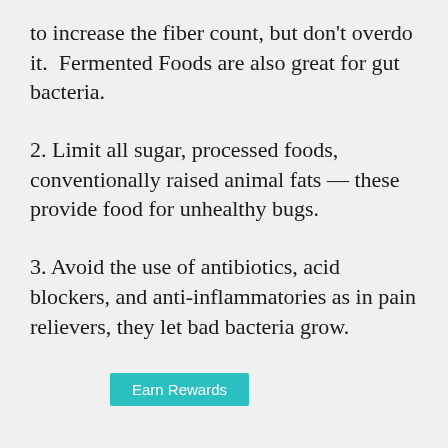to increase the fiber count, but don't overdo it.  Fermented Foods are also great for gut bacteria.
2. Limit all sugar, processed foods, conventionally raised animal fats — these provide food for unhealthy bugs.
3. Avoid the use of antibiotics, acid blockers, and anti-inflammatories as in pain relievers, they let bad bacteria grow.
Earn Rewards